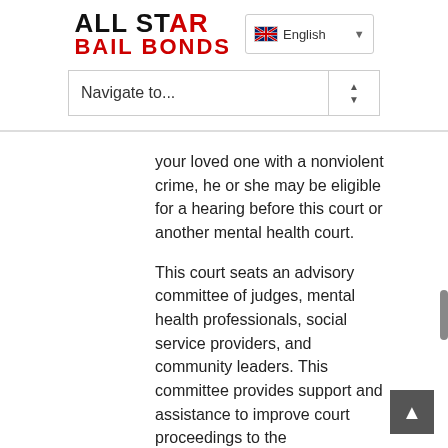ALL STAR BAIL BONDS — Navigate to...
your loved one with a nonviolent crime, he or she may be eligible for a hearing before this court or another mental health court.
This court seats an advisory committee of judges, mental health professionals, social service providers, and community leaders. This committee provides support and assistance to improve court proceedings to the